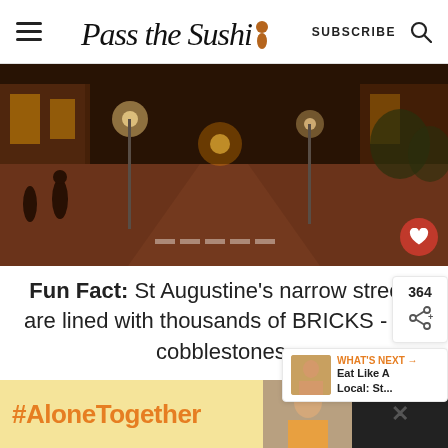Pass the Sushi — SUBSCRIBE [search]
[Figure (photo): Night street scene in St. Augustine, Florida — a brick road lined with streetlights, people walking, shops on both sides, warm golden glow.]
Fun Fact: St Augustine's narrow streets are lined with thousands of BRICKS - not cobblestones.
[Figure (infographic): Social share sidebar showing 364 shares and a share icon; What's Next panel showing 'Eat Like A Local: St...' with thumbnail.]
[Figure (infographic): Ad banner: #AloneTogether in orange text on yellow background, with a photo of a woman and a close button.]